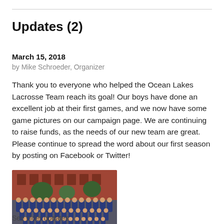Updates (2)
March 15, 2018
by Mike Schroeder, Organizer
Thank you to everyone who helped the Ocean Lakes Lacrosse Team reach its goal! Our boys have done an excellent job at their first games, and we now have some game pictures on our campaign page. We are continuing to raise funds, as the needs of our new team are great. Please continue to spread the word about our first season by posting on Facebook or Twitter!
[Figure (photo): Group team photo of the Ocean Lakes Lacrosse Team posing in rows in front of a brick building]
See older updates